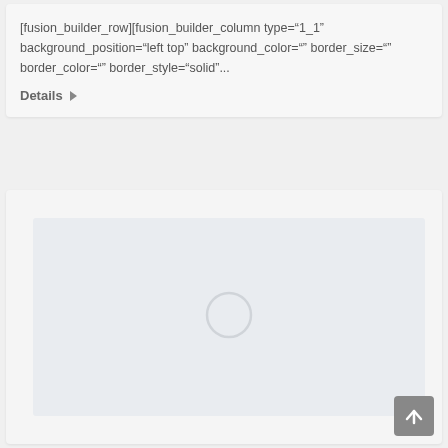[fusion_builder_row][fusion_builder_column type="1_1" background_position="left top" background_color="" border_size="" border_color="" border_style="solid"...
Details ▶
[Figure (screenshot): A loading placeholder box with a light blue-gray background and a centered loading spinner circle]